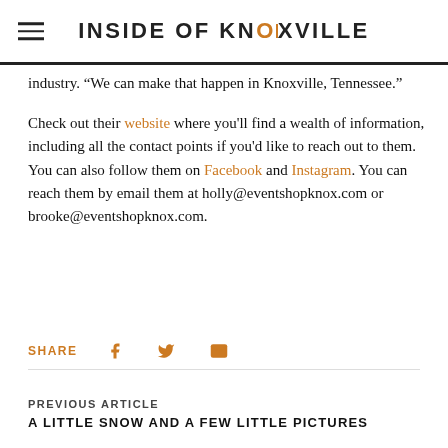INSIDE OF KNOXVILLE
industry. “We can make that happen in Knoxville, Tennessee.”
Check out their website where you’ll find a wealth of information, including all the contact points if you’d like to reach out to them. You can also follow them on Facebook and Instagram. You can reach them by email them at holly@eventshopknox.com or brooke@eventshopknox.com.
SHARE
PREVIOUS ARTICLE
A LITTLE SNOW AND A FEW LITTLE PICTURES